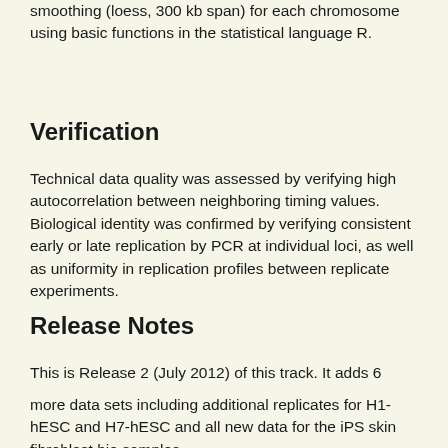smoothing (loess, 300 kb span) for each chromosome using basic functions in the statistical language R.
Verification
Technical data quality was assessed by verifying high autocorrelation between neighboring timing values. Biological identity was confirmed by verifying consistent early or late replication by PCR at individual loci, as well as uniformity in replication profiles between replicate experiments.
Release Notes
This is Release 2 (July 2012) of this track. It adds 6 more data sets including additional replicates for H1-hESC and H7-hESC and all new data for the iPS skin fibroblast bio samples.
Credits
The credits are provided by the Florida S...